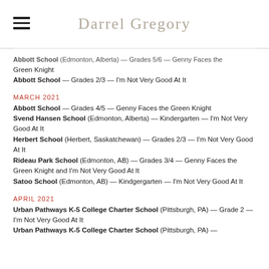Darrel Gregory
Abbott School (Edmonton, Alberta) — Grades 5/6 — Genny Faces the Green Knight
Abbott School — Grades 2/3 — I'm Not Very Good At It
MARCH 2021
Abbott School — Grades 4/5 — Genny Faces the Green Knight
Svend Hansen School (Edmonton, Alberta) — Kindergarten — I'm Not Very Good At It
Herbert School (Herbert, Saskatchewan) — Grades 2/3 — I'm Not Very Good At It
Rideau Park School (Edmonton, AB) — Grades 3/4 — Genny Faces the Green Knight and I'm Not Very Good At It
Satoo School (Edmonton, AB) — Kindgergarten — I'm Not Very Good At It
APRIL 2021
Urban Pathways K-5 College Charter School (Pittsburgh, PA) — Grade 2 — I'm Not Very Good At It
Urban Pathways K-5 College Charter School (Pittsburgh, PA) —